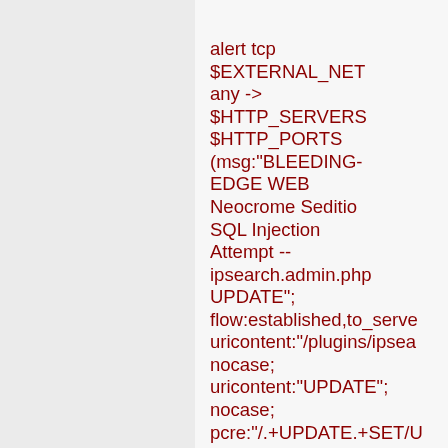alert tcp $EXTERNAL_NET any -> $HTTP_SERVERS $HTTP_PORTS (msg:"BLEEDING-EDGE WEB Neocrome Seditio SQL Injection Attempt -- ipsearch.admin.php UPDATE"; flow:established,to_server; uricontent:"/plugins/ipsear nocase; uricontent:"UPDATE"; nocase; pcre:"/.+UPDATE.+SET/U classtype:web-application-attack; reference:cve,CVE-